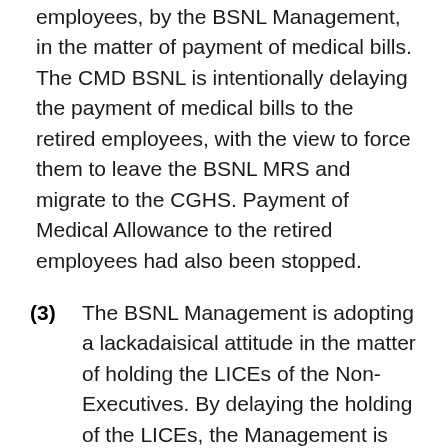employees, by the BSNL Management, in the matter of payment of medical bills. The CMD BSNL is intentionally delaying the payment of medical bills to the retired employees, with the view to force them to leave the BSNL MRS and migrate to the CGHS. Payment of Medical Allowance to the retired employees had also been stopped.
(3)   The BSNL Management is adopting a lackadaisical attitude in the matter of holding the LICEs of the Non-Executives. By delaying the holding of the LICEs, the Management is jeopardising the promotional prospects and the future of the young BSNL employees.
(4)   Management is not paying the wage arrears of the contract workers. In many places, wages are not paid to the contract workers even up to 18 months. This is also nothing but the vindictive action of the CMD BSNL.